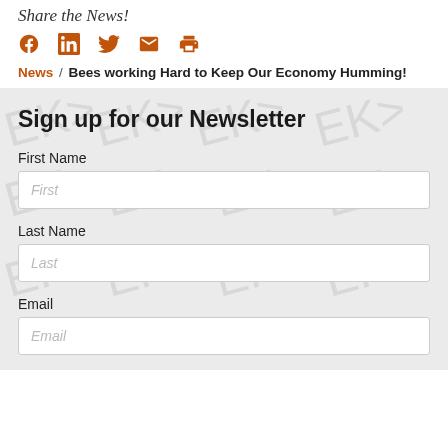Share the News!
[Figure (infographic): Social sharing icons: Facebook, LinkedIn, Twitter, Email, Print in orange]
News / Bees working Hard to Keep Our Economy Humming!
Sign up for our Newsletter
First Name
First
Last Name
Last
Email
Email